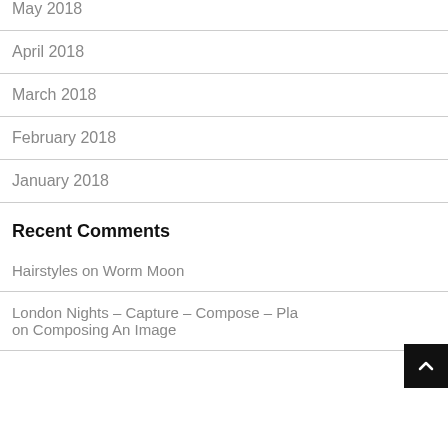May 2018
April 2018
March 2018
February 2018
January 2018
Recent Comments
Hairstyles on Worm Moon
London Nights – Capture – Compose – Pla on Composing An Image